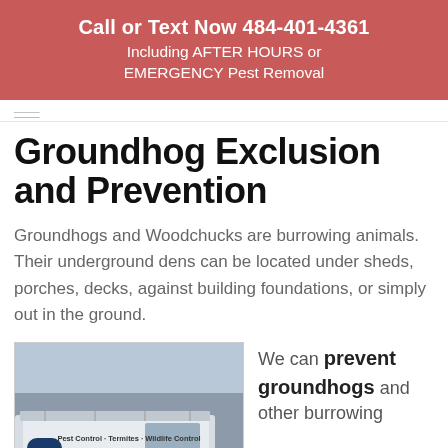Call or Text Now 484-401-4361
Including AFTER HOURS or EMERGENCY Pest Removal
Groundhog Exclusion and Prevention
Groundhogs and Woodchucks are burrowing animals. Their underground dens can be located under sheds, porches, decks, against building foundations, or simply out in the ground.
[Figure (photo): Prudential Pest Solutions service van with text 'Pest Control - Termites - Wildlife Control' and 'Family and Veteran Owned' on the van, with a technician standing beside it.]
We can prevent groundhogs and other burrowing